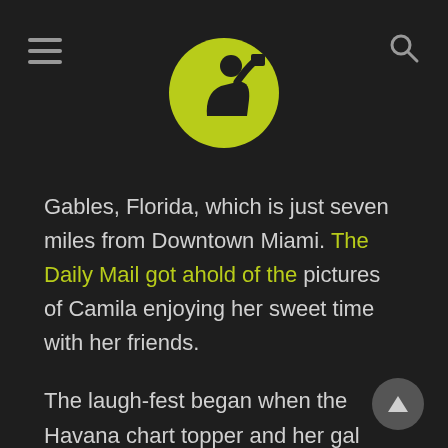Navigation header with hamburger menu, logo icon, and search icon
Gables, Florida, which is just seven miles from Downtown Miami. The Daily Mail got ahold of the pictures of Camila enjoying her sweet time with her friends.
The laugh-fest began when the Havana chart topper and her gal pals claimed their spot on the beach. The group then carried over when they decided to jump into the ocean water for a little frolicking in the waves. She looked nothing short of phenomenal during her outing.